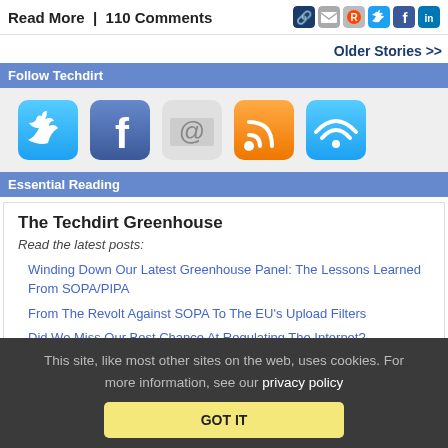Read More  |  110 Comments
Older Stories >>
Follow Techdirt
[Figure (illustration): Five social media icons: Twitter, Facebook, Email, RSS, and WiFi/App icon]
Essential Reading
The Techdirt Greenhouse
Read the latest posts:
Winding Down Our Latest Greenhouse Panel: The Lessons Learned From SOPA/PIPA
From The Revolt Against SOPA To The EU's Upload Filters
Did We Miss Our Best Chance At Regulating The Internet?
This site, like most other sites on the web, uses cookies. For more information, see our privacy policy  GOT IT